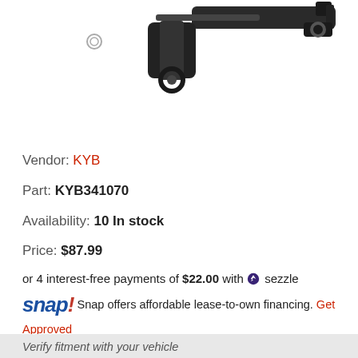[Figure (photo): Product photo of KYB shock absorber part KYB341070 — a black automotive shock absorber with mounting hardware, and a small metal nut visible to the left, on white background.]
Vendor: KYB
Part: KYB341070
Availability: 10 In stock
Price: $87.99
or 4 interest-free payments of $22.00 with ⚡ sezzle
snap! Snap offers affordable lease-to-own financing. Get Approved
Verify fitment with your vehicle